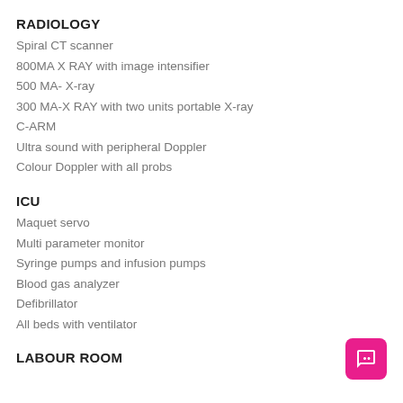RADIOLOGY
Spiral CT scanner
800MA X RAY with image intensifier
500 MA- X-ray
300 MA-X RAY with two units portable X-ray
C-ARM
Ultra sound with peripheral Doppler
Colour Doppler with all probs
ICU
Maquet servo
Multi parameter monitor
Syringe pumps and infusion pumps
Blood gas analyzer
Defibrillator
All beds with ventilator
LABOUR ROOM